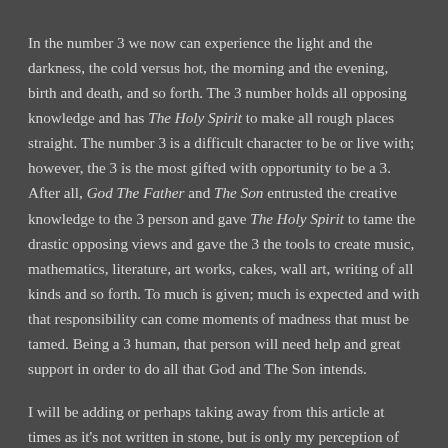In the number 3 we now can experience the light and the darkness, the cold versus hot, the morning and the evening, birth and death, and so forth. The 3 number holds all opposing knowledge and has The Holy Spirit to make all rough places straight. The number 3 is a difficult character to be or live with; however, the 3 is the most gifted with opportunity to be a 3. After all, God The Father and The Son entrusted the creative knowledge to the 3 person and gave The Holy Spirit to tame the drastic opposing views and gave the 3 the tools to create music, mathematics, literature, art works, cakes, wall art, writing of all kinds and so forth. To much is given; much is expected and with that responsibility can come moments of madness that must be tamed. Being a 3 human, that person will need help and great support in order to do all that God and The Son intends.
I will be adding or perhaps taking away from this article at times as it's not written in stone, but is only my perception of the